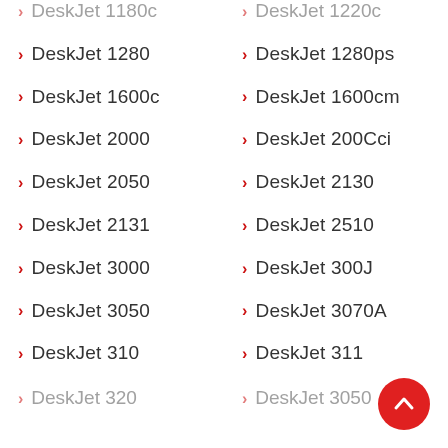› DeskJet 1180c
› DeskJet 1220c
› DeskJet 1280
› DeskJet 1280ps
› DeskJet 1600c
› DeskJet 1600cm
› DeskJet 2000
› DeskJet 200Cci
› DeskJet 2050
› DeskJet 2130
› DeskJet 2131
› DeskJet 2510
› DeskJet 3000
› DeskJet 300J
› DeskJet 3050
› DeskJet 3070A
› DeskJet 310
› DeskJet 311
› DeskJet 320
› DeskJet 3050